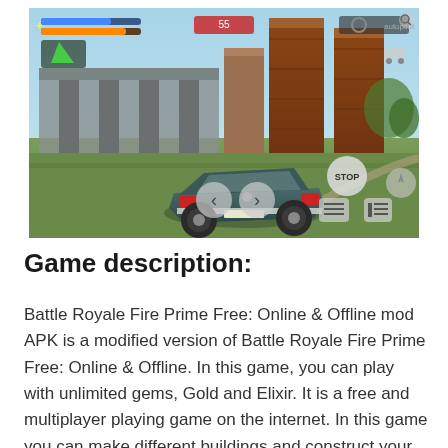[Figure (screenshot): Mobile game screenshot of Battle Royale Fire Prime Free showing a classic muscle car (dark teal/green) viewed from behind in an open grassy area near industrial buildings with rust-colored silos. Game HUD shows health/energy bars at top left, a minimap arrow, STOP button, and on-screen controls including left/right steering arrows and action buttons on the right side.]
Game description:
Battle Royale Fire Prime Free: Online & Offline mod APK is a modified version of Battle Royale Fire Prime Free: Online & Offline. In this game, you can play with unlimited gems, Gold and Elixir. It is a free and multiplayer playing game on the internet. In this game you can make different buildings and construct your town bases, also you can make your own army attack other clans and defend your